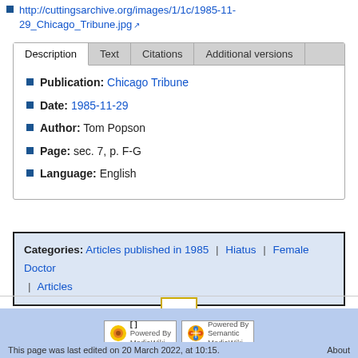http://cuttingsarchive.org/images/1/1c/1985-11-29_Chicago_Tribune.jpg
| Description | Text | Citations | Additional versions |
| --- | --- | --- | --- |
| Publication: | Chicago Tribune |  |  |
| Date: | 1985-11-29 |  |  |
| Author: | Tom Popson |  |  |
| Page: | sec. 7, p. F-G |  |  |
| Language: | English |  |  |
Categories: Articles published in 1985 | Hiatus | Female Doctor | Articles
[Figure (other): Back to top arrow button with yellow border]
[Figure (logo): Powered by MediaWiki and Powered by Semantic MediaWiki badges]
This page was last edited on 20 March 2022, at 10:15.    About